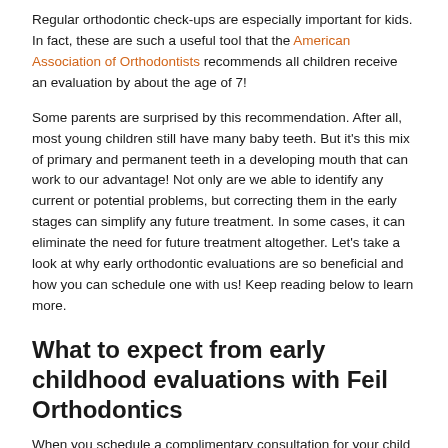Regular orthodontic check-ups are especially important for kids. In fact, these are such a useful tool that the American Association of Orthodontists recommends all children receive an evaluation by about the age of 7!
Some parents are surprised by this recommendation. After all, most young children still have many baby teeth. But it's this mix of primary and permanent teeth in a developing mouth that can work to our advantage! Not only are we able to identify any current or potential problems, but correcting them in the early stages can simplify any future treatment. In some cases, it can eliminate the need for future treatment altogether. Let's take a look at why early orthodontic evaluations are so beneficial and how you can schedule one with us! Keep reading below to learn more.
What to expect from early childhood evaluations with Feil Orthodontics
When you schedule a complimentary consultation for your child with Dr. Feil, he'll perform a painless but thorough oral examination. In doing so, he'll be able to assess their bite, jaw…